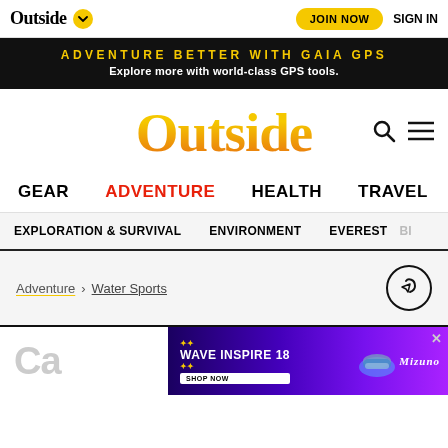Outside | JOIN NOW | SIGN IN
ADVENTURE BETTER WITH GAIA GPS
Explore more with world-class GPS tools.
[Figure (logo): Outside magazine logo in gold/orange gradient with search and menu icons]
GEAR
ADVENTURE
HEALTH
TRAVEL
EXPLORATION & SURVIVAL
ENVIRONMENT
EVEREST
Adventure > Water Sports
[Figure (advertisement): Mizuno Wave Inspire 18 shoe advertisement with purple/blue background, shoe image, SHOP NOW button]